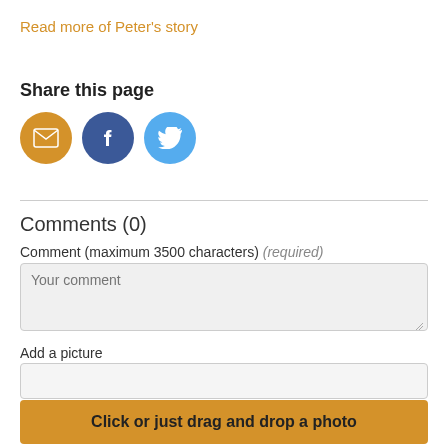Read more of Peter's story
Share this page
[Figure (infographic): Three social sharing icon buttons: email (orange circle), Facebook (dark blue circle with f), Twitter (light blue circle with bird)]
Comments (0)
Comment (maximum 3500 characters) (required)
Your comment
Add a picture
Click or just drag and drop a photo